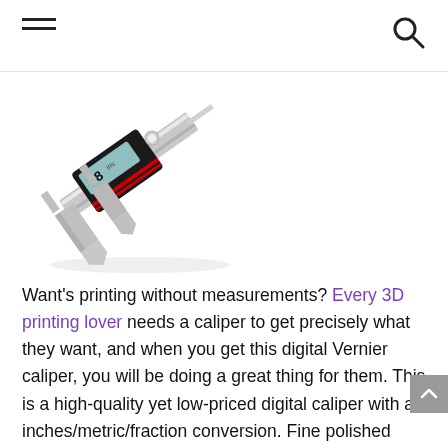[hamburger menu icon] [search icon]
[Figure (photo): Digital Vernier caliper product photo showing a black and silver digital caliper with red accents and LCD display showing measurement, angled on white background with slight reflection below.]
Want’s printing without measurements? Every 3D printing lover needs a caliper to get precisely what they want, and when you get this digital Vernier caliper, you will be doing a great thing for them. This is a high-quality yet low-priced digital caliper with an inches/metric/fraction conversion. Fine polished stainless steel and NEW processing of depth meter’s groove give better looking, smooth sliding and more accurate.